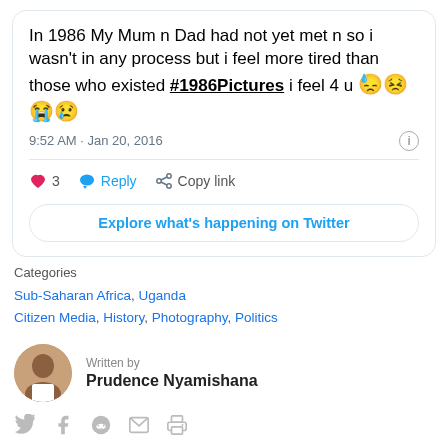In 1986 My Mum n Dad had not yet met n so i wasn't in any process but i feel more tired than those who existed #1986Pictures i feel 4 u 😓😣😭😢
9:52 AM · Jan 20, 2016
❤ 3  Reply  Copy link
Explore what's happening on Twitter
Categories
Sub-Saharan Africa, Uganda
Citizen Media, History, Photography, Politics
Written by
Prudence Nyamishana
[Figure (illustration): Social share icons: Twitter bird, Facebook f, Reddit alien, email envelope, printer]